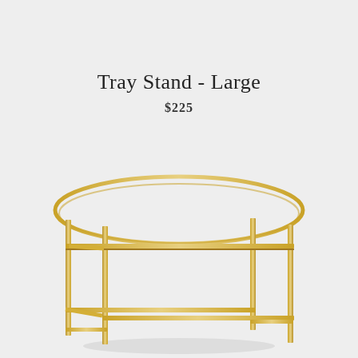Tray Stand - Large
$225
[Figure (photo): A gold/brass metal tray stand with an oval ring top and four straight square legs connected by horizontal crossbars, photographed against a light grey background.]